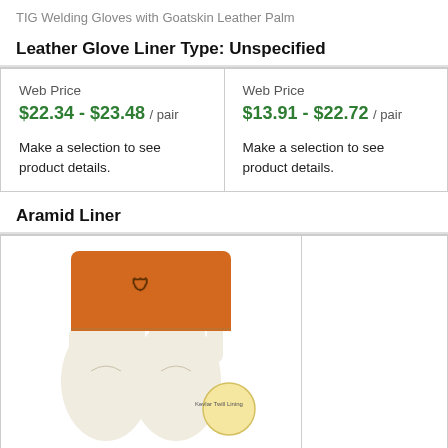TIG Welding Gloves with Goatskin Leather Palm
Leather Glove Liner Type: Unspecified
| Column 1 | Column 2 |
| --- | --- |
| Web Price
$22.34 - $23.48 / pair

Make a selection to see product details. | Web Price
$13.91 - $22.72 / pair

Make a selection to see product details. |
Aramid Liner
[Figure (photo): TIG welding gloves with orange/tan cuff and white leather palm, Kevlar Twill Lining badge shown]
TIG Welding Gloves,Kevlar(R)Lined,XL,